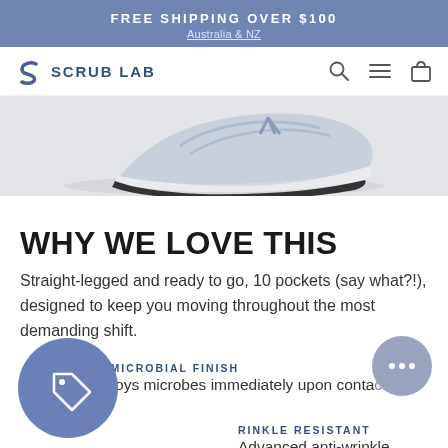FREE SHIPPING OVER $100
Australia & NZ
[Figure (logo): Scrub Lab logo with S icon and navigation icons (search, menu, bag)]
[Figure (photo): Partial view of a light blue/grey sneaker (New Balance style) on a grey background]
WHY WE LOVE THIS
Straight-legged and ready to go, 10 pockets (say what?!), designed to keep you moving throughout the most demanding shift.
ANTIMICROBIAL FINISH
Destroys microbes immediately upon contact
WRINKLE RESISTANT
Advanced anti-wrinkle power